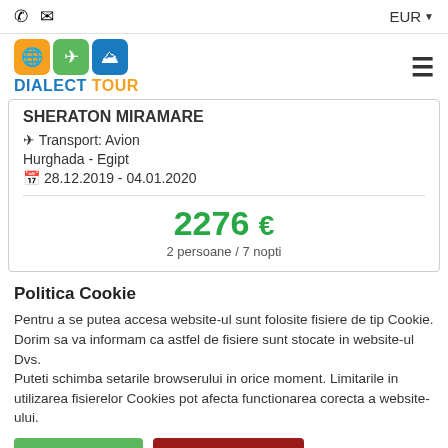EUR
[Figure (logo): Dialect Tour logo with orange globe, green airplane, and blue ship icons]
SHERATON MIRAMARE
✈ Transport: Avion
Hurghada - Egipt
📅 28.12.2019 - 04.01.2020
2276 €
2 persoane / 7 nopti
Politica Cookie
Pentru a se putea accesa website-ul sunt folosite fisiere de tip Cookie. Dorim sa va informam ca astfel de fisiere sunt stocate in website-ul Dvs.
Puteti schimba setarile browserului in orice moment. Limitarile in utilizarea fisierelor Cookies pot afecta functionarea corecta a website-ului.
Sunt de acord
Nu sunt de acord